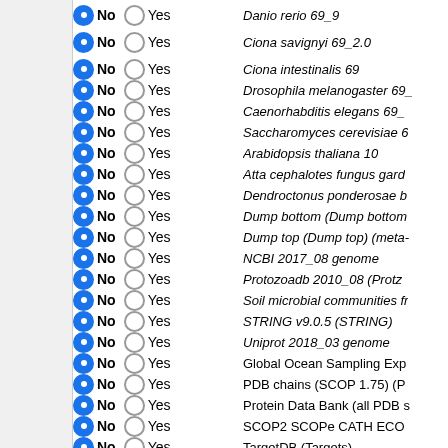No Yes  Danio rerio 69_9
No Yes  Ciona savignyi 69_2.0
No Yes  Ciona intestinalis 69
No Yes  Drosophila melanogaster 69_
No Yes  Caenorhabditis elegans 69_
No Yes  Saccharomyces cerevisiae 6
No Yes  Arabidopsis thaliana 10
No Yes  Atta cephalotes fungus gard
No Yes  Dendroctonus ponderosae b
No Yes  Dump bottom (Dump bottom
No Yes  Dump top (Dump top) (meta-
No Yes  NCBI 2017_08 genome
No Yes  Protozoadb 2010_08 (Protz
No Yes  Soil microbial communities fr
No Yes  STRING v9.0.5 (STRING)
No Yes  Uniprot 2018_03 genome
No Yes  Global Ocean Sampling Exp
No Yes  PDB chains (SCOP 1.75) (P
No Yes  Protein Data Bank (all PDB s
No Yes  SCOP2 SCOPe CATH ECO
No Yes  TargetDB (Targets)